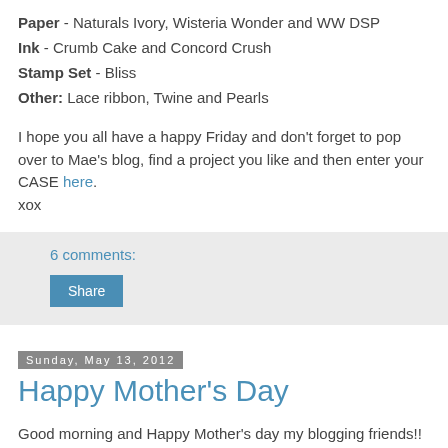Paper - Naturals Ivory, Wisteria Wonder and WW DSP
Ink - Crumb Cake and Concord Crush
Stamp Set - Bliss
Other: Lace ribbon, Twine and Pearls
I hope you all have a happy Friday and don't forget to pop over to Mae's blog, find a project you like and then enter your CASE here.
xox
6 comments:
Share
Sunday, May 13, 2012
Happy Mother's Day
Good morning and Happy Mother's day my blogging friends!!
A few weeks ago I had been doing a big clean up of my craft room...